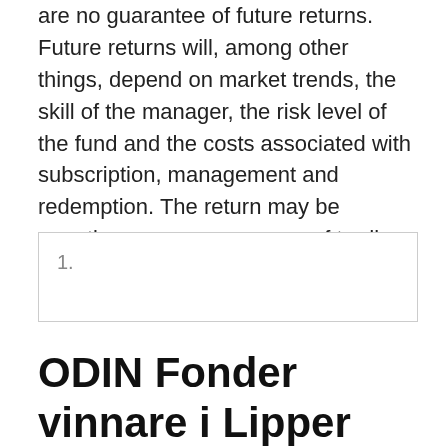are no guarantee of future returns. Future returns will, among other things, depend on market trends, the skill of the manager, the risk level of the fund and the costs associated with subscription, management and redemption. The return may be negative as a consequence of trading losses. Odin Norden. Fund.
1.
ODIN Fonder vinnare i Lipper Fund Awards - ODIN Fonder